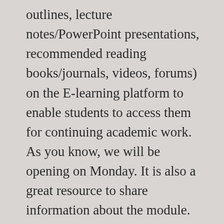outlines, lecture notes/PowerPoint presentations, recommended reading books/journals, videos, forums) on the E-learning platform to enable students to access them for continuing academic work. As you know, we will be opening on Monday. It is also a great resource to share information about the module. The University of Lusaka is inviting applications from suitably qualified candidates to fill up the positions of Lecturer in the School of Business, Economics, and Management on a full-time basis. Below is the login page; Select Log in Passionate about teaching and research. UNIVERSITY OF LUSAKA CONTACT DETAILS. Passionate about teaching and research. Passionate about teaching and research.